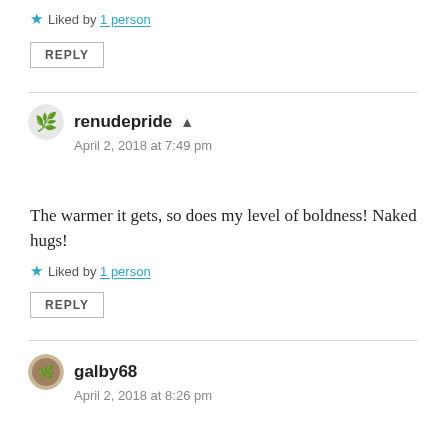★ Liked by 1 person
REPLY
renudepride ▲
April 2, 2018 at 7:49 pm
The warmer it gets, so does my level of boldness! Naked hugs!
★ Liked by 1 person
REPLY
galby68
April 2, 2018 at 8:26 pm